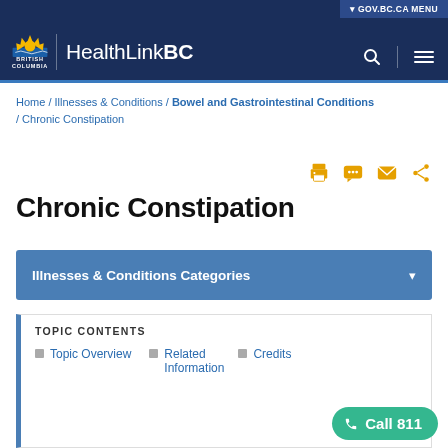HealthLinkBC — GOV.BC.CA MENU
Home / Illnesses & Conditions / Bowel and Gastrointestinal Conditions / Chronic Constipation
Chronic Constipation
Illnesses & Conditions Categories
TOPIC CONTENTS
Topic Overview
Related Information
Credits